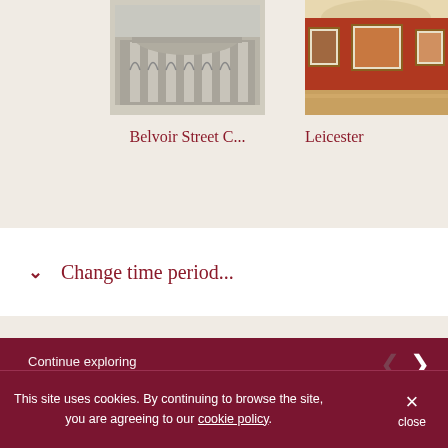[Figure (photo): Black and white historical photo of Belvoir Street C... building with columned facade]
Belvoir Street C...
[Figure (photo): Color photo of Leicester museum/gallery interior with red walls and paintings]
Leicester
Change time period...
Continue exploring
A Working Town
This site uses cookies. By continuing to browse the site, you are agreeing to our cookie policy.